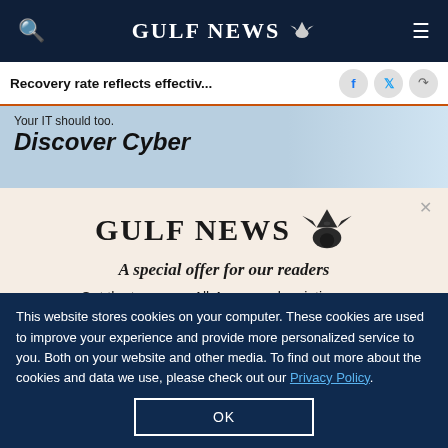GULF NEWS
Recovery rate reflects effectiv...
[Figure (screenshot): Partial advertisement banner showing text 'Your IT should too. Discover Cyber' with blue background]
GULF NEWS — A special offer for our readers
Get the two years All-Access subscription now
This website stores cookies on your computer. These cookies are used to improve your experience and provide more personalized service to you. Both on your website and other media. To find out more about the cookies and data we use, please check out our Privacy Policy.
OK